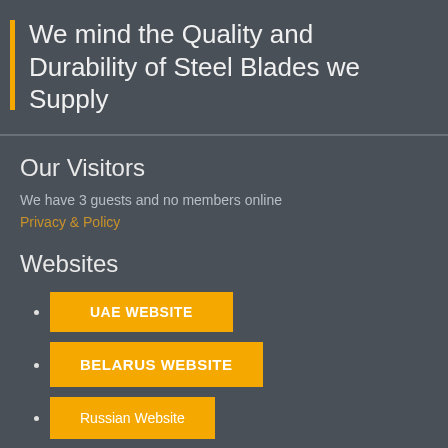We mind the Quality and Durability of Steel Blades we Supply
Our Visitors
We have 3 guests and no members online
Privacy & Policy
Websites
UAE WEBSITE
BELARUS WEBSITE
Russian Website
(partial button)